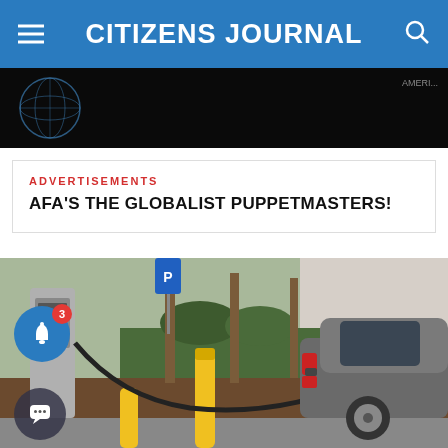CITIZENS JOURNAL
[Figure (photo): Dark banner image with globe graphic, partial view of website header image]
ADVERTISEMENTS
AFA'S THE GLOBALIST PUPPETMASTERS!
[Figure (photo): Electric vehicle being charged at a public EV charging station, with yellow bollards and trees in background]